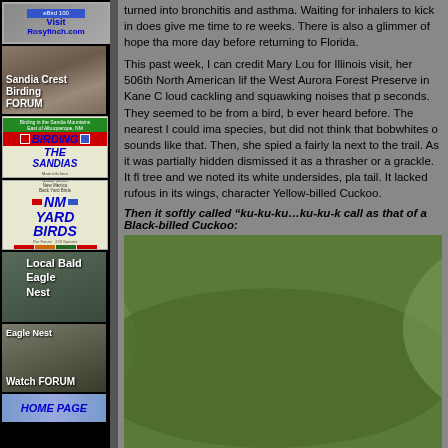[Figure (screenshot): Visit Rosyfinch.com banner link]
[Figure (photo): Sandia Crest Birding FORUM sidebar image with bird photo]
[Figure (screenshot): Birding The Sandias book/resource advertisement]
[Figure (screenshot): NM Yard Birds advertisement]
[Figure (photo): Local Bald Eagle Nest sidebar image]
[Figure (photo): Eagle Nest Watch FORUM sidebar image with eagle photo]
[Figure (screenshot): HOME PAGE link button]
turned into bronchitis and asthma. Waiting for inhalers to kick in does give me time to re weeks. There is also a glimmer of hope tha more day before returning to Florida.
This past week, I can credit Mary Lou for Illinois visit, her 506th North American lif the West Aurora Forest Preserve in Kane C loud cackling and squawking noises that p seconds. They seemed to be from a bird, b ever heard before. The nearest I could ima species, but did not think that bobwhites o sounds like that. Then, she spied a fairly la next to the trail. As it was partially hidden dismissed it as a thrasher or a grackle. It fl tree and we noted its white undersides, pla tail. It lacked rufous in its wings, character Yellow-billed Cuckoo.
Then it softly called “ku-ku-ku…ku-ku-k call as that of a Black-billed Cuckoo:
[Figure (photo): Photo of a bird (cuckoo) partially visible at bottom of page among green foliage]